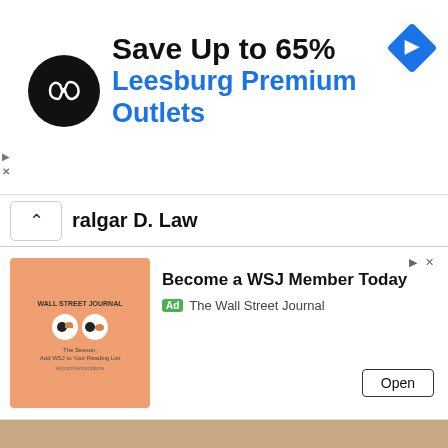[Figure (infographic): Advertisement banner: circular black logo with infinity-like symbol, text 'Save Up to 65%' in bold black, 'Leesburg Premium Outlets' in blue, blue diamond navigation icon on right. Ad controls (triangle/X) on left side.]
ralgar D. Law
[Figure (infographic): WSJ advertisement: peach/orange book cover thumbnail on left showing glasses illustration. Text 'Become a WSJ Member Today' in bold, 'Ad The Wall Street Journal' label below, 'Open' button on right. Ad controls top right.]
[Figure (illustration): Anime illustration of Trafalgar D. Law from One Piece - close-up of character wearing white spotted hat, dark clothing with cross symbol, yellow earrings, serious expression.]